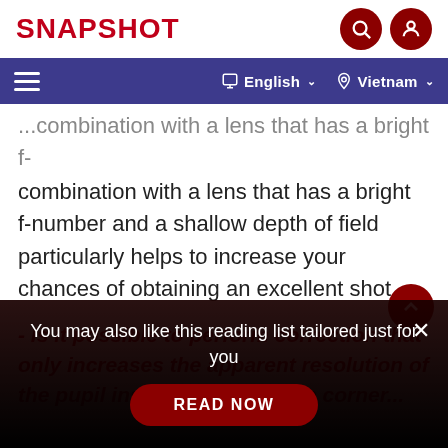SNAPSHOT
...combination with a lens that has a bright f-number and a shallow depth of field particularly helps to increase your chances of obtaining an excellent shot.
- Is it possible to perform correction that only increases the apparent resolution of the pupil instead of that at the corner...
You may also like this reading list tailored just for you
READ NOW